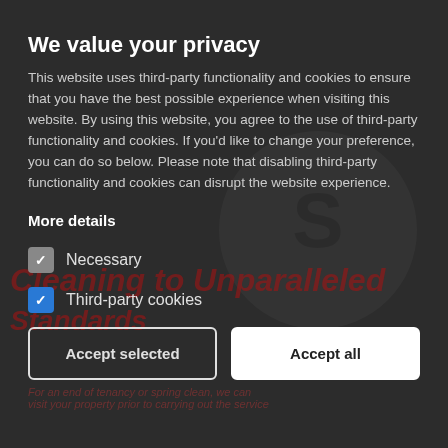We value your privacy
This website uses third-party functionality and cookies to ensure that you have the best possible experience when visiting this website. By using this website, you agree to the use of third-party functionality and cookies. If you'd like to change your preference, you can do so below. Please note that disabling third-party functionality and cookies can disrupt the website experience.
More details
Necessary (checkbox, grey, unchecked)
Third-party cookies (checkbox, blue, checked)
Accept selected | Accept all